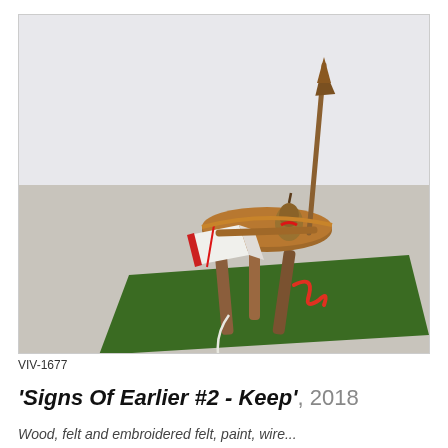[Figure (photo): Artwork photo showing a small wooden stool/table with three legs sitting on a dark green felt mat on a concrete gallery floor. On the stool rests an open book with red spine and white pages, a gourd/pear-shaped object, red wire elements, and a tall wooden arrow pointing upward. Background is a white/grey gallery wall.]
VIV-1677
'Signs Of Earlier #2 - Keep', 2018
Wood, felt and embroidered felt, paint, wire...